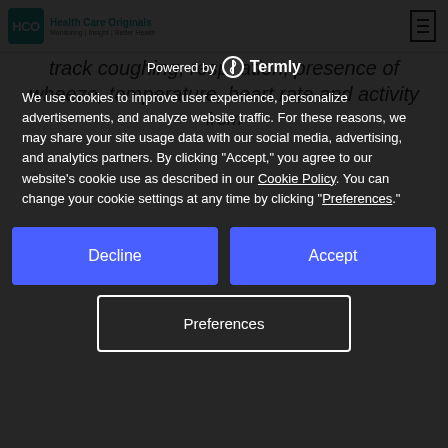[Figure (logo): Health Care Originals (HCO) logo with teal square and company name]
track coughing, respiration, presence of wheeze, temperature, heart rate and activity from
Powered by Termly
We use cookies to improve user experience, personalize advertisements, and analyze website traffic. For these reasons, we may share your site usage data with our social media, advertising, and analytics partners. By clicking “Accept,” you agree to our website’s cookie use as described in our Cookie Policy. You can change your cookie settings at any time by clicking “Preferences.”
Decline
Accept
Preferences